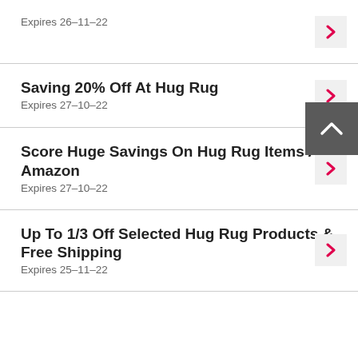Expires 26-11-22
Saving 20% Off At Hug Rug
Expires 27-10-22
Score Huge Savings On Hug Rug Items At Amazon
Expires 27-10-22
Up To 1/3 Off Selected Hug Rug Products & Free Shipping
Expires 25-11-22